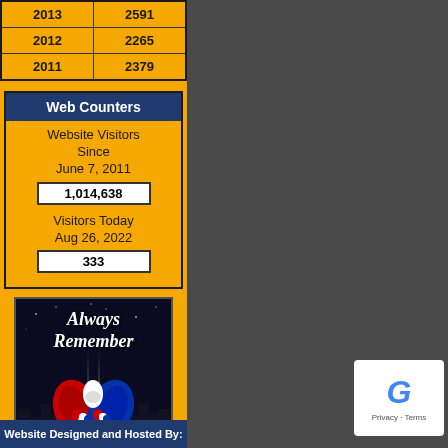| Year | Count |
| --- | --- |
| 2013 | 2591 |
| 2012 | 2265 |
| 2011 | 2379 |
Web Counters
Website Visitors Since June 7, 2011
1,014,638
Visitors Today Aug 26, 2022
333
[Figure (illustration): Always Remember image with NYC skyline at night and patriotic ribbon (red, white, blue) with text 'Always Remember']
Website Designed and Hosted By: